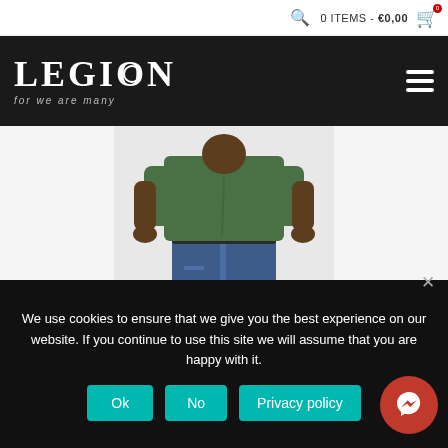0 ITEMS - €0,00
[Figure (logo): LEGION logo with tagline 'for we are many' on dark header bar]
[Figure (photo): Person wearing a green t-shirt and blue jeans, cropped to show torso and waist area]
GAME OVER – UNISEX PREMIUM T-SHIRT
€29,95 –  €31,95
We use cookies to ensure that we give you the best experience on our website. If you continue to use this site we will assume that you are happy with it.